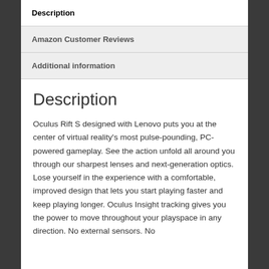Description
Amazon Customer Reviews
Additional information
Description
Oculus Rift S designed with Lenovo puts you at the center of virtual reality's most pulse-pounding, PC-powered gameplay. See the action unfold all around you through our sharpest lenses and next-generation optics. Lose yourself in the experience with a comfortable, improved design that lets you start playing faster and keep playing longer. Oculus Insight tracking gives you the power to move throughout your playspace in any direction. No external sensors. No